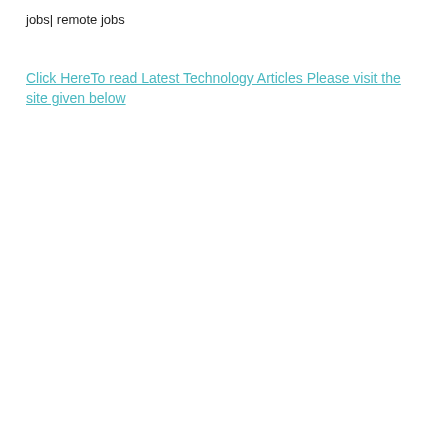jobs| remote jobs
Click HereTo read Latest Technology Articles Please visit the site given below